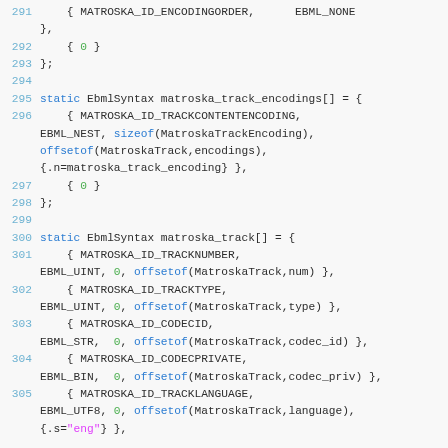[Figure (screenshot): Source code snippet in C showing EBML syntax definitions for Matroska track encodings and track fields, lines 291-305, with syntax highlighting: line numbers in blue, keywords in blue, numeric literals in green, string literals in purple.]